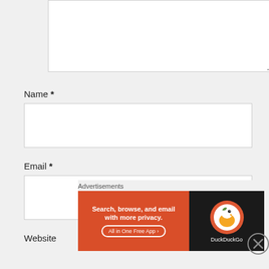[Figure (screenshot): Partial textarea form field at top of page (white input box with resize handle)]
Name *
[Figure (screenshot): Empty text input field for Name]
Email *
[Figure (screenshot): Empty text input field for Email]
Website
Advertisements
[Figure (screenshot): DuckDuckGo advertisement banner: Search, browse, and email with more privacy. All in One Free App. DuckDuckGo logo on right.]